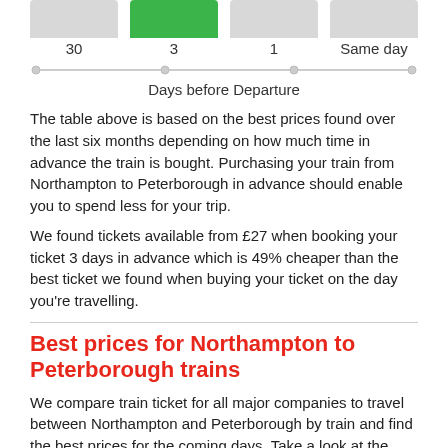[Figure (bar-chart): Days before Departure]
Days before Departure
The table above is based on the best prices found over the last six months depending on how much time in advance the train is bought. Purchasing your train from Northampton to Peterborough in advance should enable you to spend less for your trip.
We found tickets available from £27 when booking your ticket 3 days in advance which is 49% cheaper than the best ticket we found when buying your ticket on the day you're travelling.
Best prices for Northampton to Peterborough trains
We compare train ticket for all major companies to travel between Northampton and Peterborough by train and find the best prices for the coming days. Take a look at the prices of train tickets Peterborough to Northampton and find the best deal for your outbound journey.